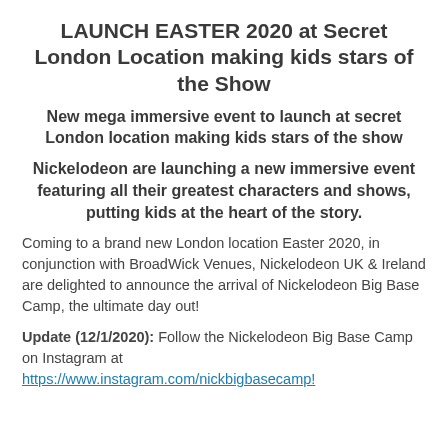LAUNCH EASTER 2020 at Secret London Location making kids stars of the Show
New mega immersive event to launch at secret London location making kids stars of the show
Nickelodeon are launching a new immersive event featuring all their greatest characters and shows, putting kids at the heart of the story.
Coming to a brand new London location Easter 2020, in conjunction with BroadWick Venues, Nickelodeon UK & Ireland are delighted to announce the arrival of Nickelodeon Big Base Camp, the ultimate day out!
Update (12/1/2020): Follow the Nickelodeon Big Base Camp on Instagram at https://www.instagram.com/nickbigbasecamp!